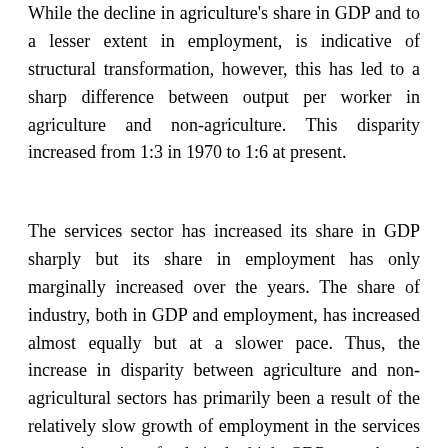While the decline in agriculture's share in GDP and to a lesser extent in employment, is indicative of structural transformation, however, this has led to a sharp difference between output per worker in agriculture and non-agriculture. This disparity increased from 1:3 in 1970 to 1:6 at present.
The services sector has increased its share in GDP sharply but its share in employment has only marginally increased over the years. The share of industry, both in GDP and employment, has increased almost equally but at a slower pace. Thus, the increase in disparity between agriculture and non-agricultural sectors has primarily been a result of the relatively slow growth of employment in the services sector in spite of relatively high GDP growth and stagnant growth of manufacturing in the industrial sector.